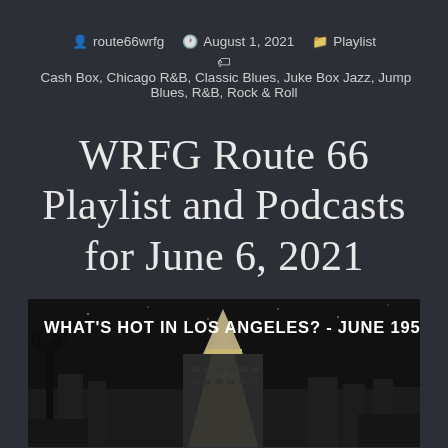route66wrfg  August 1, 2021  Playlist  Cash Box, Chicago R&B, Classic Blues, Juke Box Jazz, Jump Blues, R&B, Rock & Roll
WRFG Route 66 Playlist and Podcasts for June 6, 2021
[Figure (photo): Black and white night photo of Los Angeles city hall or landmark building illuminated against a dark sky, with palm tree silhouette on the left. Text overlay reads: WHAT'S HOT IN LOS ANGELES? - JUNE 1951]